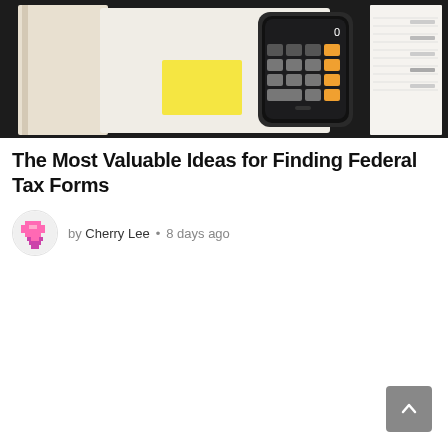[Figure (photo): Photo of a smartphone calculator app, tax forms/documents, a yellow sticky note, and a pen on a dark background]
The Most Valuable Ideas for Finding Federal Tax Forms
by Cherry Lee • 8 days ago